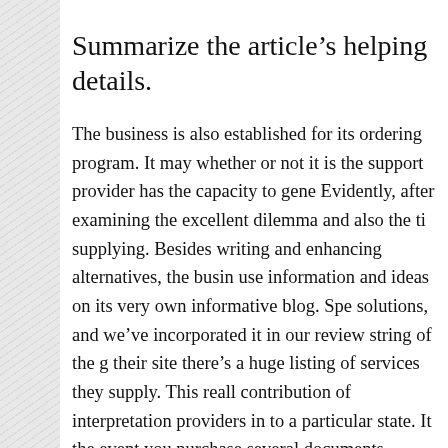Summarize the article's helping details.
The business is also established for its ordering program. It may whether or not it is the support provider has the capacity to gene... Evidently, after examining the excellent dilemma and also the ti... supplying. Besides writing and enhancing alternatives, the busin... use information and ideas on its very own informative blog. Spe... solutions, and we've incorporated it in our review string of the g... their site there's a huge listing of services they supply. This reall... contribution of interpretation providers in to a particular state. It ... the event you purchase several documents.
Bowman remains in custody during the time publication.
Each week, students require to complete several documents and a... creating, it's also feasible to order proof reading of an already co... including down load a completely free sample for your own be...